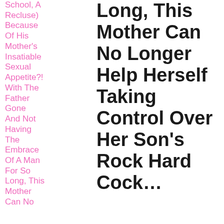School, A Recluse) Because Of His Mother's Insatiable Sexual Appetite?! With The Father Gone And Not Having The Embrace Of A Man For So Long, This Mother Can No
Long, This Mother Can No Longer Help Herself Taking Control Over Her Son's Rock Hard Cock…